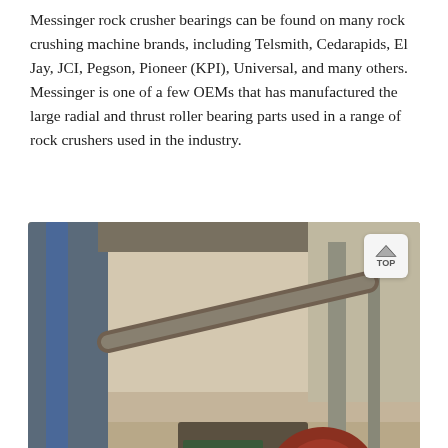Messinger rock crusher bearings can be found on many rock crushing machine brands, including Telsmith, Cedarapids, El Jay, JCI, Pegson, Pioneer (KPI), Universal, and many others. Messinger is one of a few OEMs that has manufactured the large radial and thrust roller bearing parts used in a range of rock crushers used in the industry.
[Figure (photo): Industrial rock crusher machinery at a facility, showing large mechanical equipment with rollers and conveyor components, workers visible near the machinery, industrial building in background. An orange chat bar with a customer service avatar is overlaid at the bottom.]